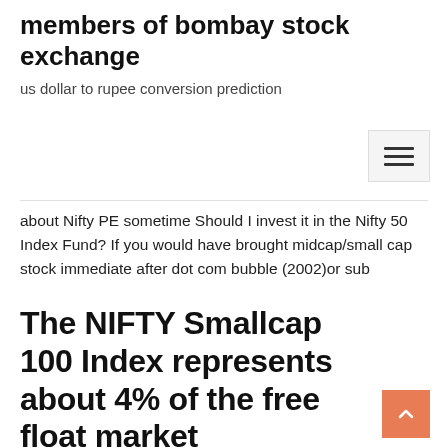members of bombay stock exchange
us dollar to rupee conversion prediction
about Nifty PE sometime Should I invest it in the Nifty 50 Index Fund? If you would have brought midcap/small cap stock immediate after dot com bubble (2002)or sub
The NIFTY Smallcap 100 Index represents about 4% of the free float market capitalization of the stocks listed on NSE as on March 31, 2018. The total traded